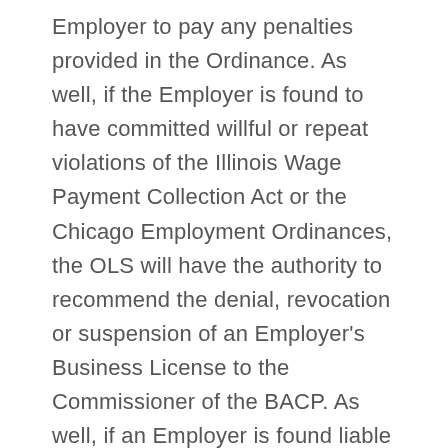Employer to pay any penalties provided in the Ordinance. As well, if the Employer is found to have committed willful or repeat violations of the Illinois Wage Payment Collection Act or the Chicago Employment Ordinances, the OLS will have the authority to recommend the denial, revocation or suspension of an Employer's Business License to the Commissioner of the BACP. As well, if an Employer is found liable for violating one of the City of Chicago Employment Ordinances, there may also be a recommendation to suspend or cancel any Employer Current Contract with the City.
Starting January of the year of 2019, there will...